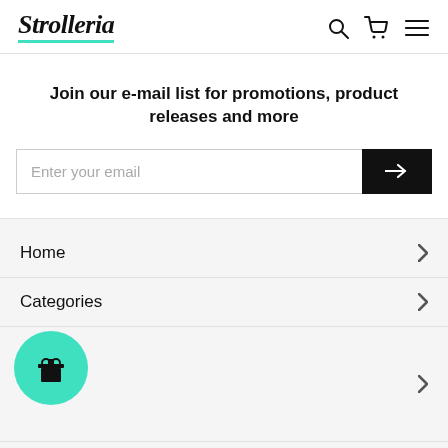Strolleria
Join our e-mail list for promotions, product releases and more
Enter your email
Home
Categories
Research